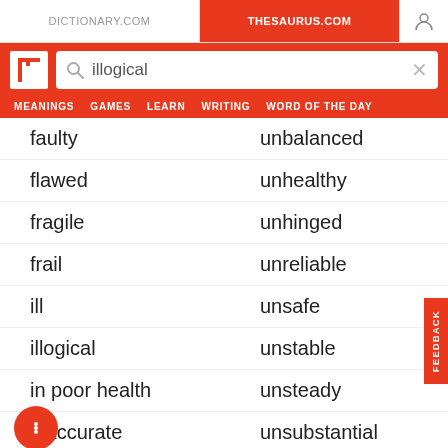DICTIONARY.COM | THESAURUS.COM
illogical (search query)
faulty | unbalanced
flawed | unhealthy
fragile | unhinged
frail | unreliable
ill | unsafe
illogical | unstable
in poor health | unsteady
inaccurate | unsubstantial